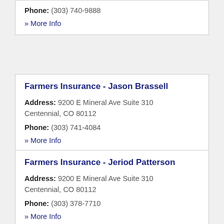Phone: (303) 740-9888
» More Info
Farmers Insurance - Jason Brassell
Address: 9200 E Mineral Ave Suite 310 Centennial, CO 80112
Phone: (303) 741-4084
» More Info
Farmers Insurance - Jeriod Patterson
Address: 9200 E Mineral Ave Suite 310 Centennial, CO 80112
Phone: (303) 378-7710
» More Info